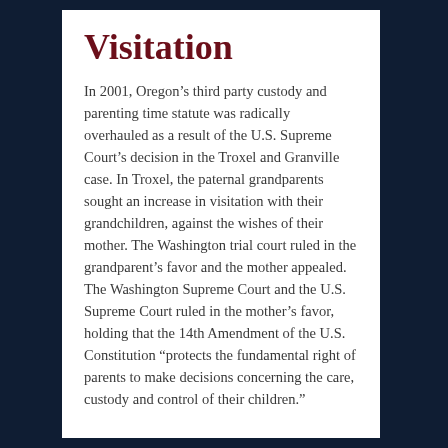Visitation
In 2001, Oregon’s third party custody and parenting time statute was radically overhauled as a result of the U.S. Supreme Court’s decision in the Troxel and Granville case. In Troxel, the paternal grandparents sought an increase in visitation with their grandchildren, against the wishes of their mother. The Washington trial court ruled in the grandparent’s favor and the mother appealed. The Washington Supreme Court and the U.S. Supreme Court ruled in the mother’s favor, holding that the 14th Amendment of the U.S. Constitution “protects the fundamental right of parents to make decisions concerning the care, custody and control of their children.”